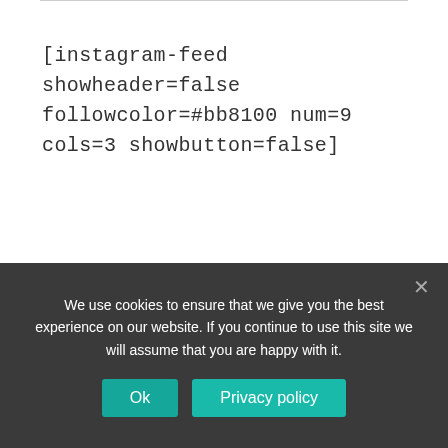[instagram-feed showheader=false followcolor=#bb8100 num=9 cols=3 showbutton=false]
We use cookies to ensure that we give you the best experience on our website. If you continue to use this site we will assume that you are happy with it.
Ok
Privacy policy